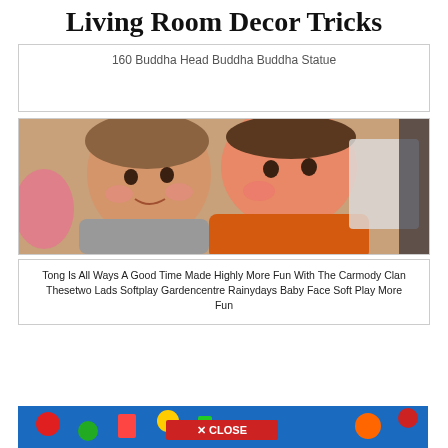Living Room Decor Tricks
160 Buddha Head Buddha Buddha Statue
[Figure (photo): Two young boys hugging and smiling at the camera indoors]
Tong Is All Ways A Good Time Made Highly More Fun With The Carmody Clan Thesetwo Lads Softplay Gardencentre Rainydays Baby Face Soft Play More Fun
[Figure (photo): Colorful children's play area with CLOSE button overlay]